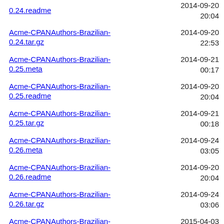0.24.readme	2014-09-20 20:04
Acme-CPANAuthors-Brazilian-0.24.tar.gz	2014-09-20 22:53	4.7K
Acme-CPANAuthors-Brazilian-0.25.meta	2014-09-21 00:17	937
Acme-CPANAuthors-Brazilian-0.25.readme	2014-09-20 20:04	352
Acme-CPANAuthors-Brazilian-0.25.tar.gz	2014-09-21 00:18	4.7K
Acme-CPANAuthors-Brazilian-0.26.meta	2014-09-24 03:05	937
Acme-CPANAuthors-Brazilian-0.26.readme	2014-09-20 20:04	352
Acme-CPANAuthors-Brazilian-0.26.tar.gz	2014-09-24 03:06	4.7K
Acme-CPANAuthors-Brazilian-0.27.meta	2015-04-03 03:16	1.2K
Acme-CPANAuthors-Brazilian-0.27.readme	2015-04-03 02:16	1.7K
Acme-CPANAuthors-Brazilian-0.27.tar.gz	2015-04-03 03:16	5.4K
Acme-CPANAuthors-Brazilian-0.28.meta	2018-08-29 20:46	1.3K